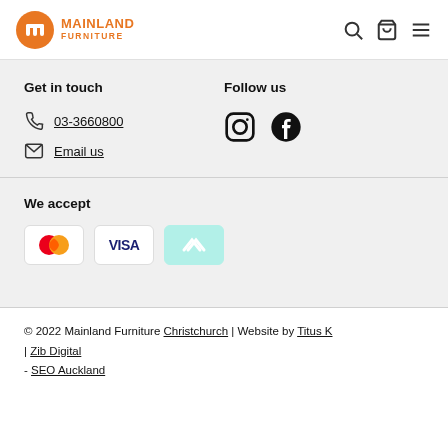[Figure (logo): Mainland Furniture logo with orange circle containing stylized 'm' and orange text 'MAINLAND FURNITURE']
[Figure (other): Header icons: search, shopping cart, hamburger menu]
Get in touch
03-3660800
Email us
Follow us
[Figure (other): Instagram and Facebook social media icons]
We accept
[Figure (other): Payment method icons: Mastercard, Visa, Afterpay]
© 2022 Mainland Furniture Christchurch | Website by Titus K | Zib Digital - SEO Auckland